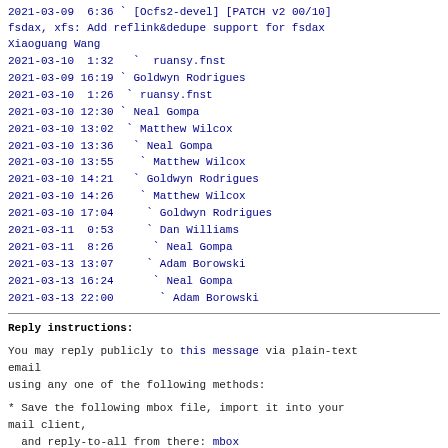2021-03-09  6:36 ` [Ocfs2-devel] [PATCH v2 00/10] fsdax, xfs: Add reflink&dedupe support for fsdax Xiaoguang Wang
2021-03-10  1:32   ` ruansy.fnst
2021-03-09 16:19 ` Goldwyn Rodrigues
2021-03-10  1:26  ` ruansy.fnst
2021-03-10 12:30 ` Neal Gompa
2021-03-10 13:02  ` Matthew Wilcox
2021-03-10 13:36   ` Neal Gompa
2021-03-10 13:55    ` Matthew Wilcox
2021-03-10 14:21   ` Goldwyn Rodrigues
2021-03-10 14:26    ` Matthew Wilcox
2021-03-10 17:04     ` Goldwyn Rodrigues
2021-03-11  0:53     ` Dan Williams
2021-03-11  8:26      ` Neal Gompa
2021-03-13 13:07     ` Adam Borowski
2021-03-13 16:24      ` Neal Gompa
2021-03-13 22:00       ` Adam Borowski
Reply instructions:
You may reply publicly to this message via plain-text email
using any one of the following methods:
* Save the following mbox file, import it into your mail client,
  and reply-to-all from there: mbox